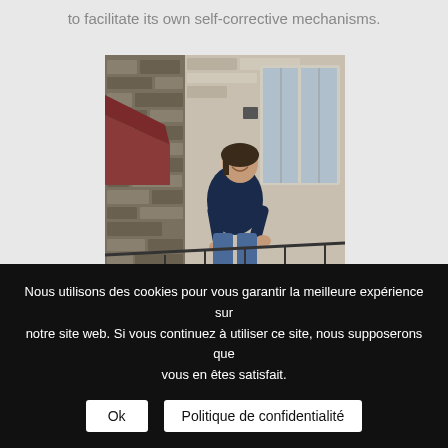to facilitate its own self-corrective mechanisms.
[Figure (photo): A woman leaning on a balcony railing of a stone building, smiling upward, wearing a navy blue top and jeans. Blue sky in background, red-roofed adjacent building visible.]
Nous utilisons des cookies pour vous garantir la meilleure expérience sur notre site web. Si vous continuez à utiliser ce site, nous supposerons que vous en êtes satisfait.